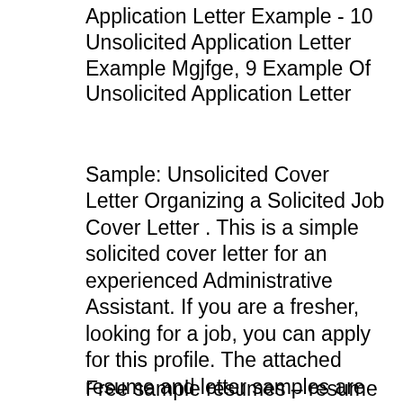Application Letter Example - 10 Unsolicited Application Letter Example Mgjfge, 9 Example Of Unsolicited Application Letter
Sample: Unsolicited Cover Letter Organizing a Solicited Job Cover Letter . This is a simple solicited cover letter for an experienced Administrative Assistant. If you are a fresher, looking for a job, you can apply for this profile. The attached resume and letter samples are provided to assist you with ideas for layout View a sample format for providing names of references with your resume.
Free sample resumes – resume sample